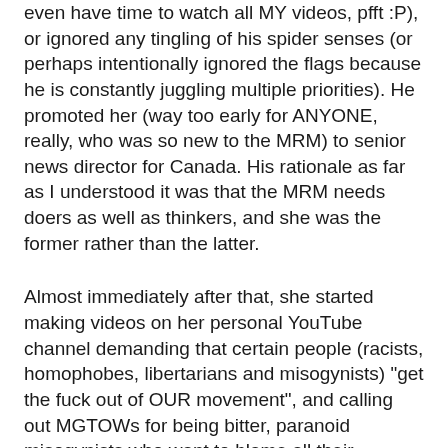even have time to watch all MY videos, pfft :P), or ignored any tingling of his spider senses (or perhaps intentionally ignored the flags because he is constantly juggling multiple priorities). He promoted her (way too early for ANYONE, really, who was so new to the MRM) to senior news director for Canada. His rationale as far as I understood it was that the MRM needs doers as well as thinkers, and she was the former rather than the latter.
Almost immediately after that, she started making videos on her personal YouTube channel demanding that certain people (racists, homophobes, libertarians and misogynists) "get the fuck out of OUR movement", and calling out MGTOWs for being bitter, paranoid misogynists who want to blame all their problems on women (something even the most extreme MGTOWs don't really do--they blame men's problems on both men and women).
She managed to alienate so many people, Paul finally had enough and removed her from the masthead of AVFM.
At that point, she went on the warpath and released a video